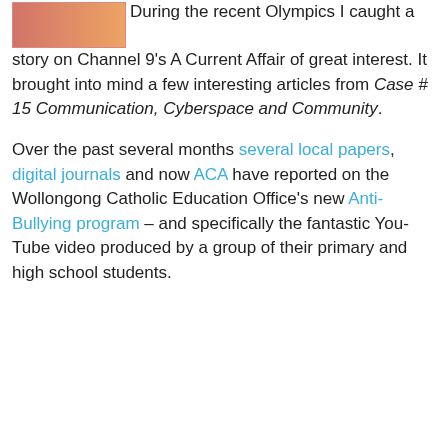During the recent Olympics I caught a story on Channel 9's A Current Affair of great interest. It brought into mind a few interesting articles from Case # 15 Communication, Cyberspace and Community.
Over the past several months several local papers, digital journals and now ACA have reported on the Wollongong Catholic Education Office's new Anti-Bullying program – and specifically the fantastic You-Tube video produced by a group of their primary and high school students.